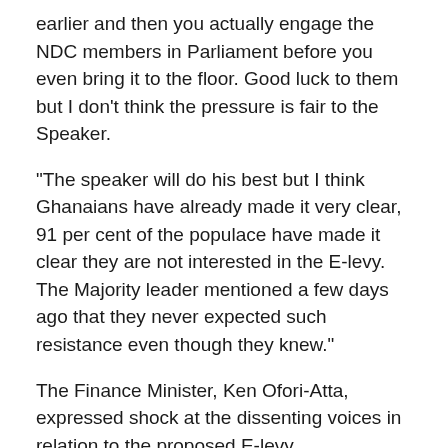earlier and then you actually engage the NDC members in Parliament before you even bring it to the floor. Good luck to them but I don't think the pressure is fair to the Speaker.
“The speaker will do his best but I think Ghanaians have already made it very clear, 91 per cent of the populace have made it clear they are not interested in the E-levy. The Majority leader mentioned a few days ago that they never expected such resistance even though they knew.”
The Finance Minister, Ken Ofori-Atta, expressed shock at the dissenting voices in relation to the proposed E-levy.
He, however, expressed optimism that the policy will be approved but, in the event it does not go through, he said, the government will turn to the petroleum sector for